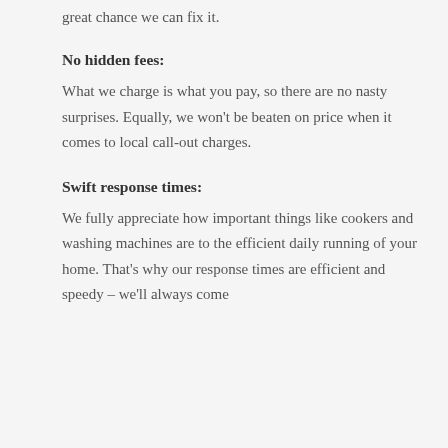great chance we can fix it.
No hidden fees:
What we charge is what you pay, so there are no nasty surprises. Equally, we won't be beaten on price when it comes to local call-out charges.
Swift response times:
We fully appreciate how important things like cookers and washing machines are to the efficient daily running of your home. That's why our response times are efficient and speedy – we'll always come